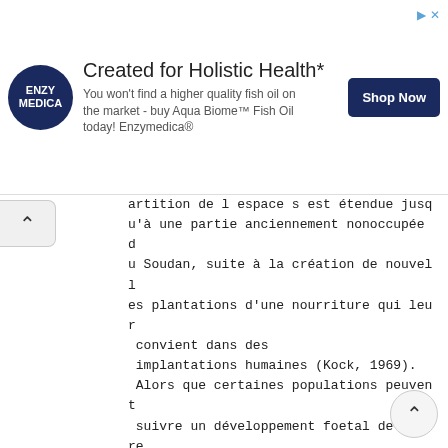[Figure (other): Advertisement banner for Enzymedica fish oil product with logo, text and Shop Now button]
artition de l'espace s'est étendue jusqu'à une partie anciennement nonoccupée du Soudan, suite à la création de nouvelles plantations d'une nourriture qui leur convient dans des implantations humaines (Kock, 1969). Alors que certaines populations peuvent suivre un développement foetal de quatre mois, d'autres peuvent entreprendre une implantation retardée (Kingdon, 1974) ; ceci peut être associé aux schémas de migration de la population. Il y a généralement un jeune par an. Dans la colonie de Kampala l'accouplement a lieu d'avril à juin, mais l'implantation est principalement en octobre à l'arrivée des pluies, et les naissances ont lieu de février à mars juste avant l'arrivée de l'autre (principale) saison pluvieuse (M